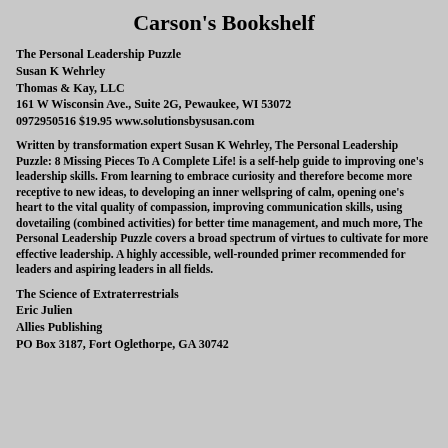Carson's Bookshelf
The Personal Leadership Puzzle
Susan K Wehrley
Thomas & Kay, LLC
161 W Wisconsin Ave., Suite 2G, Pewaukee, WI 53072
0972950516 $19.95 www.solutionsbysusan.com
Written by transformation expert Susan K Wehrley, The Personal Leadership Puzzle: 8 Missing Pieces To A Complete Life! is a self-help guide to improving one's leadership skills. From learning to embrace curiosity and therefore become more receptive to new ideas, to developing an inner wellspring of calm, opening one's heart to the vital quality of compassion, improving communication skills, using dovetailing (combined activities) for better time management, and much more, The Personal Leadership Puzzle covers a broad spectrum of virtues to cultivate for more effective leadership. A highly accessible, well-rounded primer recommended for leaders and aspiring leaders in all fields.
The Science of Extraterrestrials
Eric Julien
Allies Publishing
PO Box 3187, Fort Oglethorpe, GA 30742